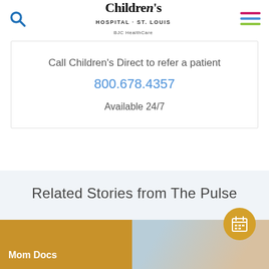Children's Hospital · St. Louis | Are you a provider?
Call Children's Direct to refer a patient
800.678.4357
Available 24/7
Related Stories from The Pulse
[Figure (photo): Mom Docs label on an amber/gold background with a photo of a woman to the right]
[Figure (infographic): Golden circular calendar/schedule button icon]